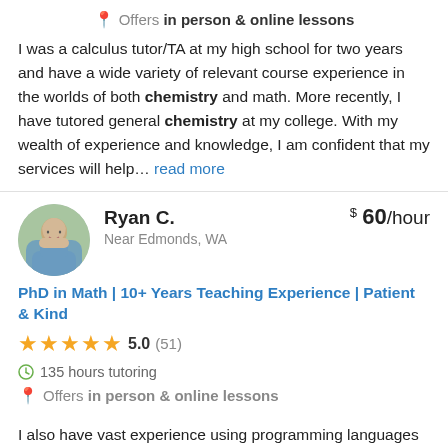Offers in person & online lessons
I was a calculus tutor/TA at my high school for two years and have a wide variety of relevant course experience in the worlds of both chemistry and math. More recently, I have tutored general chemistry at my college. With my wealth of experience and knowledge, I am confident that my services will help… read more
Ryan C.   $ 60/hour   Near Edmonds, WA
PhD in Math | 10+ Years Teaching Experience | Patient & Kind
5.0 (51)
135 hours tutoring
Offers in person & online lessons
I also have vast experience using programming languages like MATLAB and Mathematica for scientific computations, including